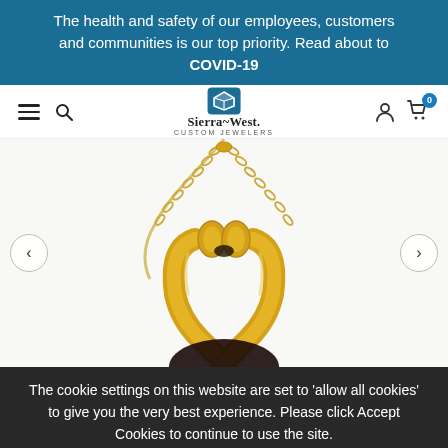The health and safety of our employees, customers and communities is our top priority. Read about to COVID-19
[Figure (screenshot): Sierra-West Custom Jewelers website navigation bar with hamburger menu, search icon, logo with diamond icon, user account icon, and shopping cart with 0 badge]
[Figure (photo): Close-up product photo of a gold wishbone/prong pendant setting on a gold chain, with a dark gemstone below, against a white background]
The cookie settings on this website are set to 'allow all cookies' to give you the very best experience. Please click Accept Cookies to continue to use the site.
PRIVACY POLICY   ACCEPT ✔